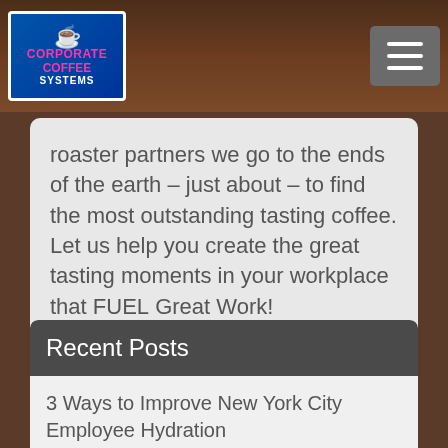Corporate Coffee Systems
roaster partners we go to the ends of the earth – just about – to find the most outstanding tasting coffee. Let us help you create the great tasting moments in your workplace that FUEL Great Work!
Recent Posts
3 Ways to Improve New York City Employee Hydration
New York City sustainable break room solutions give us the eco-friendly edge